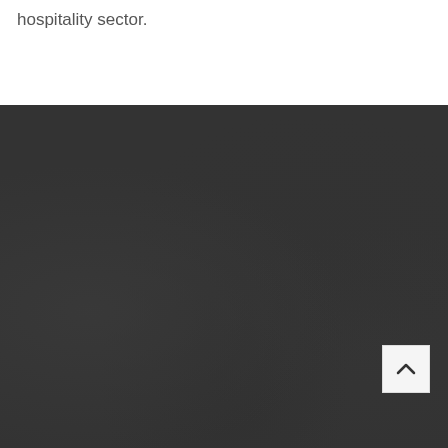hospitality sector.
[Figure (photo): Dark textured background, dark charcoal/dark gray tone with subtle variations in shading suggesting a rough surface or background image.]
[Figure (other): White square button with a dark upward-pointing chevron/caret arrow icon, used as a scroll-to-top button.]